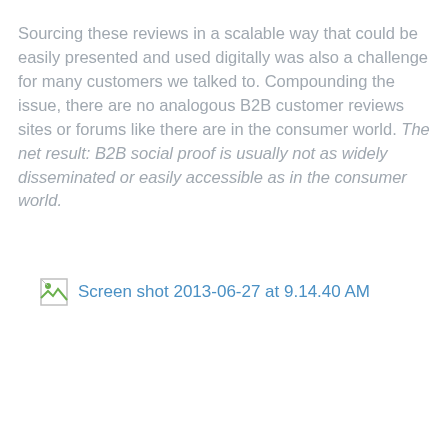Sourcing these reviews in a scalable way that could be easily presented and used digitally was also a challenge for many customers we talked to. Compounding the issue, there are no analogous B2B customer reviews sites or forums like there are in the consumer world. The net result: B2B social proof is usually not as widely disseminated or easily accessible as in the consumer world.
[Figure (screenshot): Broken image placeholder with alt text 'Screen shot 2013-06-27 at 9.14.40 AM' shown as a blue hyperlink]